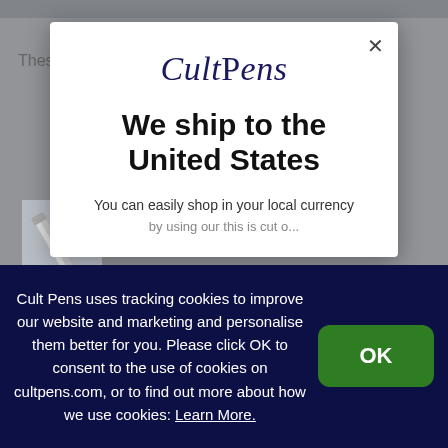[Figure (screenshot): Cult Pens website background showing dimmed page with partial 'Thes' text and a pen image]
[Figure (logo): Cult Pens logo in navy italic serif font]
We ship to the United States
You can easily shop in your local currency by using our this is cut off
Cult Pens uses tracking cookies to improve our website and marketing and personalise them better for you. Please click OK to consent to the use of cookies on cultpens.com, or to find out more about how we use cookies: Learn More.